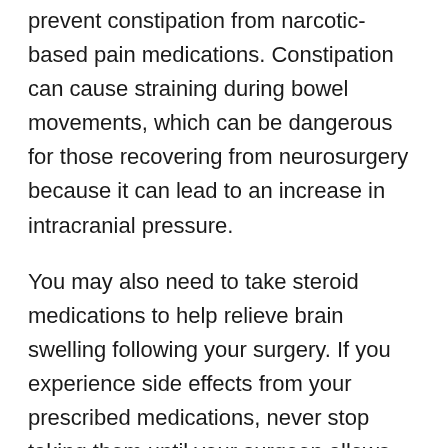prevent constipation from narcotic-based pain medications. Constipation can cause straining during bowel movements, which can be dangerous for those recovering from neurosurgery because it can lead to an increase in intracranial pressure.
You may also need to take steroid medications to help relieve brain swelling following your surgery. If you experience side effects from your prescribed medications, never stop taking them until your surgeon allows you to do so. If you stop taking your medications before getting medical clearance, healing may be slowed or you may develop serious complications such as excessive cerebral swelling, grand mal seizures, or a cerebral hemorrhage.